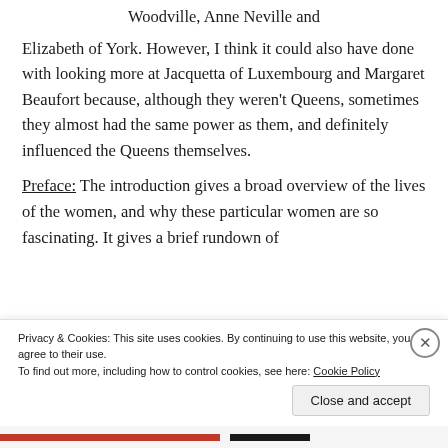Woodville, Anne Neville and Elizabeth of York. However, I think it could also have done with looking more at Jacquetta of Luxembourg and Margaret Beaufort because, although they weren't Queens, sometimes they almost had the same power as them, and definitely influenced the Queens themselves.
Preface: The introduction gives a broad overview of the lives of the women, and why these particular women are so fascinating. It gives a brief rundown of
Privacy & Cookies: This site uses cookies. By continuing to use this website, you agree to their use. To find out more, including how to control cookies, see here: Cookie Policy
Close and accept